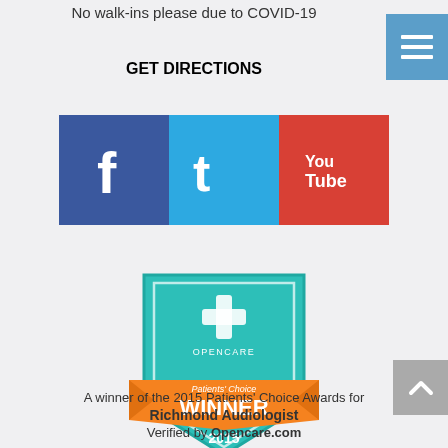No walk-ins please due to COVID-19
GET DIRECTIONS
[Figure (logo): Social media icons: Facebook (blue), Twitter (cyan), YouTube (red)]
[Figure (logo): Opencare Patients' Choice Winner 2015 badge — teal shield with orange ribbon banner]
A winner of the 2015 Patients' Choice Awards for Richmond Audiologist Verified by Opencare.com